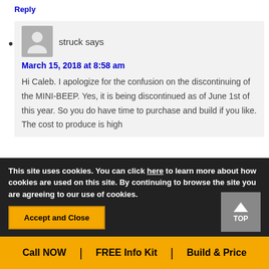Reply
struck says
March 15, 2018 at 8:58 am
Hi Caleb. I apologize for the confusion on the discontinuing of the MINI-BEEP. Yes, it is being discontinued as of June 1st of this year. So you do have time to purchase and build if you like. The cost to produce is high
This site uses cookies. You can click here to learn more about how cookies are used on this site. By continuing to browse the site you are agreeing to our use of cookies.
Accept and Close
Call NOW | FREE Info Kit | Build & Price